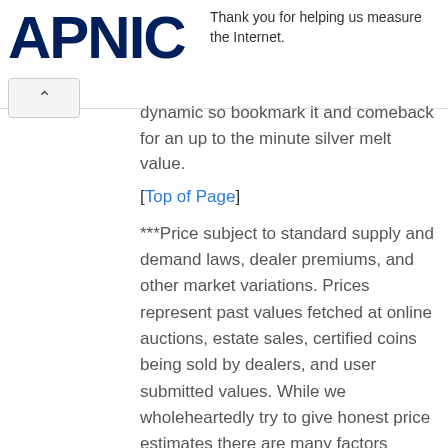APNIC — Thank you for helping us measure the Internet.
dynamic so bookmark it and comeback for an up to the minute silver melt value.
[Top of Page]
***Price subject to standard supply and demand laws, dealer premiums, and other market variations. Prices represent past values fetched at online auctions, estate sales, certified coins being sold by dealers, and user submitted values. While we wholeheartedly try to give honest price estimates there are many factors besides appearance, metal content, and rarity that help make up the coins overall value. Call or visit your local coin dealer for more information.
We use user submitted pictures please read that article if you are interested in adding your own.